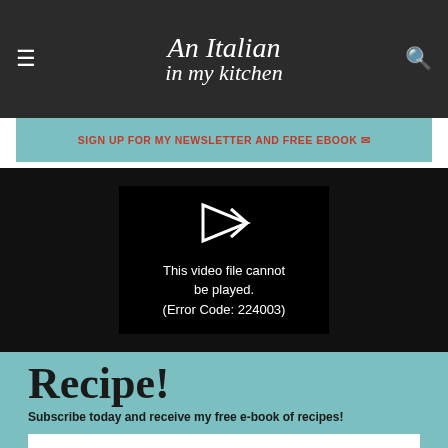An Italian in my kitchen
SIGN UP FOR MY NEWSLETTER AND FREE EBOOK ✉
[Figure (screenshot): Video player showing error message: This video file cannot be played. (Error Code: 224003)]
Recipe!
Subscribe today and receive my free e-book of recipes!
First Name